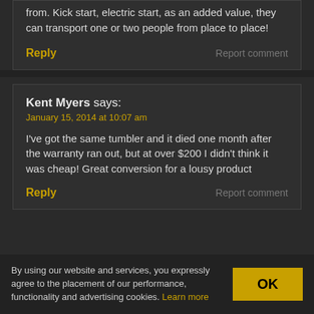from. Kick start, electric start, as an added value, they can transport one or two people from place to place!
Reply   Report comment
Kent Myers says: January 15, 2014 at 10:07 am
I've got the same tumbler and it died one month after the warranty ran out, but at over $200 I didn't think it was cheap! Great conversion for a lousy product
Reply   Report comment
By using our website and services, you expressly agree to the placement of our performance, functionality and advertising cookies. Learn more